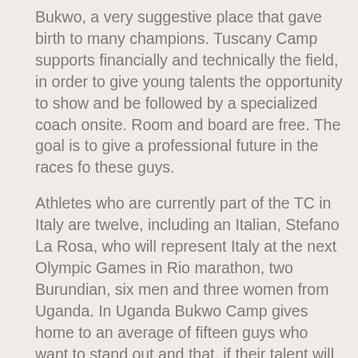Bukwo, a very suggestive place that gave birth to many champions. Tuscany Camp supports financially and technically the field, in order to give young talents the opportunity to show and be followed by a specialized coach onsite. Room and board are free. The goal is to give a professional future in the races for these guys.
Athletes who are currently part of the TC in Italy are twelve, including an Italian, Stefano La Rosa, who will represent Italy at the next Olympic Games in Rio marathon, two Burundian, six men and three women from Uganda. In Uganda Bukwo Camp gives home to an average of fifteen guys who want to stand out and that, if their talent will help them, will reach Europe. In the Camp there is also a cook, a security guard and a local coach.